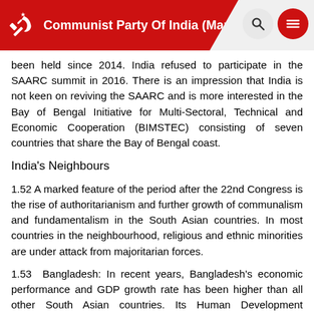Communist Party Of India (Marxist)
been held since 2014. India refused to participate in the SAARC summit in 2016. There is an impression that India is not keen on reviving the SAARC and is more interested in the Bay of Bengal Initiative for Multi-Sectoral, Technical and Economic Cooperation (BIMSTEC) consisting of seven countries that share the Bay of Bengal coast.
India's Neighbours
1.52 A marked feature of the period after the 22nd Congress is the rise of authoritarianism and further growth of communalism and fundamentalism in the South Asian countries. In most countries in the neighbourhood, religious and ethnic minorities are under attack from majoritarian forces.
1.53 Bangladesh: In recent years, Bangladesh's economic performance and GDP growth rate has been higher than all other South Asian countries. Its Human Development Indicators have improved substantially and it stands ahead of India. The recent attacks on the Hindu minorities during the Durga Puja celebrations are an indication of how the fundamentalist forces are continuing